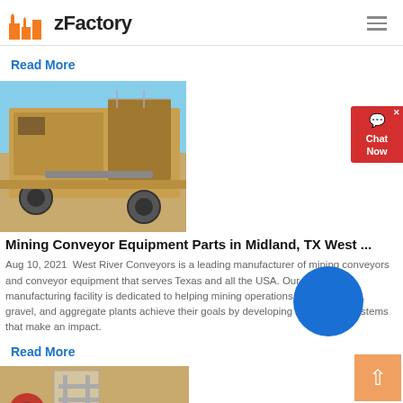zFactory
Read More
[Figure (photo): Large mining conveyor machine on sandy terrain under blue sky]
Mining Conveyor Equipment Parts in Midland, TX West ...
Aug 10, 2021  West River Conveyors is a leading manufacturer of mining conveyors and conveyor equipment that serves Texas and all the USA. Our full-service manufacturing facility is dedicated to helping mining operations including sand, gravel, and aggregate plants achieve their goals by developing customized systems that make an impact.
Read More
[Figure (photo): Bottom portion of mining equipment partially visible]